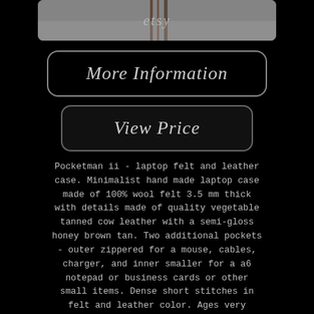[Figure (photo): Partial product image with etsy watermark visible at top]
More Information
View Price
Pocketman ii - laptop felt and leather case. Minimalist hand made laptop case made of 100% wool felt 3.5 mm thick with details made of quality vegetable tanned cow leather with a semi-gloss honey brown tan. Two additional pockets - outer zippered for a mouse, cables, charger, and inner smaller for a a6 notepad or business cards or other small items. Dense short stitches in felt and leather color. Ages very nicely, felt has water and dirt repellent surface finish (100% natural wool).